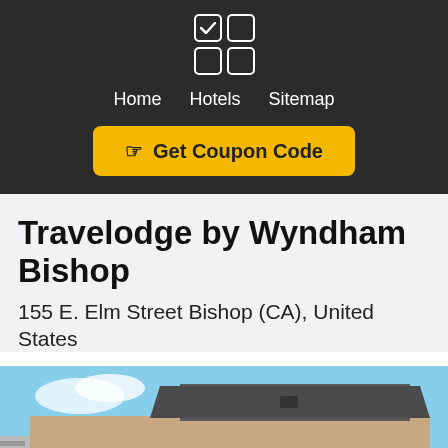[Figure (logo): Four-square grid logo icon with a checkmark in the top-left square, white on dark background]
Home   Hotels   Sitemap
☞ Get Coupon Code
Travelodge by Wyndham Bishop
155 E. Elm Street Bishop (CA), United States
[Figure (photo): Exterior photo of a Travelodge hotel building against a blue sky, showing the brick/tan building facade with a blue Travelodge sign]